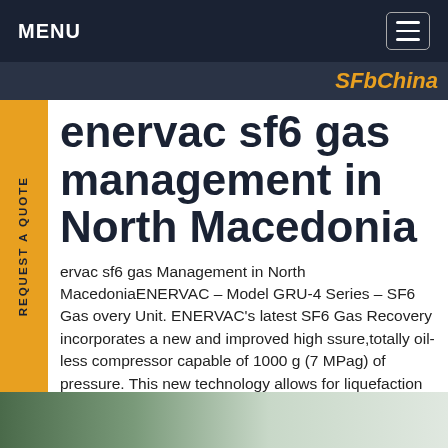MENU
[Figure (screenshot): Dark navigation bar with MENU text, hamburger icon, and image strip with 'SFbChina' orange italic text]
enervac sf6 gas management in North Macedonia
ervac sf6 gas Management in North MacedoniaENERVAC – Model GRU-4 Series – SF6 Gas overy Unit. ENERVAC's latest SF6 Gas Recovery incorporates a new and improved high ssure,totally oil-less compressor capable of 1000 g (7 MPag) of pressure. This new technology allows for liquefaction ofGet price
[Figure (photo): Bottom image strip showing outdoor industrial/nature scene]